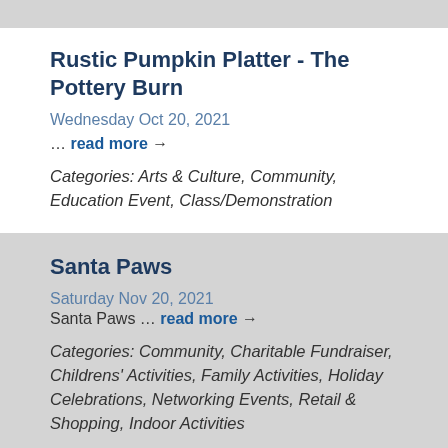Rustic Pumpkin Platter - The Pottery Burn
Wednesday Oct 20, 2021
… read more →
Categories: Arts & Culture, Community, Education Event, Class/Demonstration
Santa Paws
Saturday Nov 20, 2021
Santa Paws … read more →
Categories: Community, Charitable Fundraiser, Childrens' Activities, Family Activities, Holiday Celebrations, Networking Events, Retail & Shopping, Indoor Activities